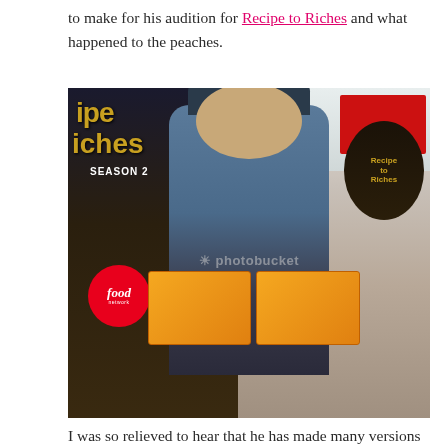to make for his audition for Recipe to Riches and what happened to the peaches.
[Figure (photo): A man wearing a dark baseball cap and jacket holds up two orange Recipe to Riches product boxes in a store. Behind him are Recipe to Riches Season 2 promotional banners featuring the Food Network logo. The image has a Photobucket watermark overlay.]
I was so relieved to hear that he has made many versions of this treat and that frozen peaches do not translate well when it comes to texture. Replacing them with berries was totally